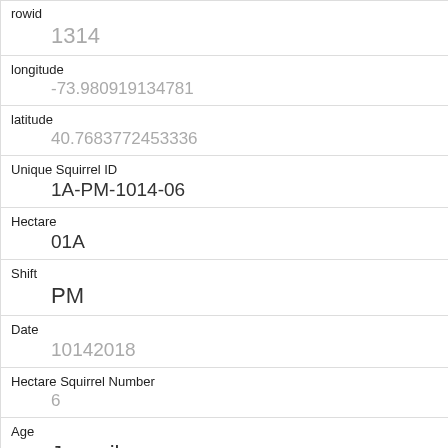| Field | Value |
| --- | --- |
| rowid | 1314 |
| longitude | -73.980919134781 |
| latitude | 40.7683772453336 |
| Unique Squirrel ID | 1A-PM-1014-06 |
| Hectare | 01A |
| Shift | PM |
| Date | 10142018 |
| Hectare Squirrel Number | 6 |
| Age | Juvenile |
| Primary Fur Color | Gray |
| Highlight Fur Color |  |